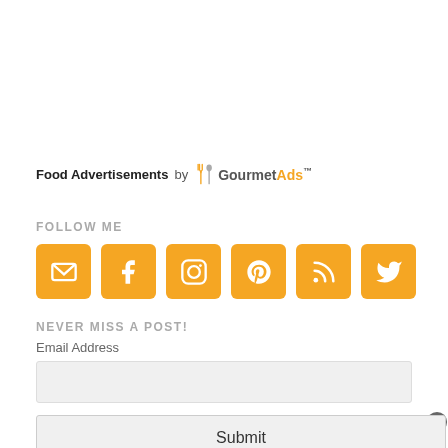[Figure (logo): Food Advertisements by GourmetAds logo/text — bold 'Food Advertisements' followed by 'by' and the GourmetAds brand with spoon/fork icon]
FOLLOW ME
[Figure (infographic): Six orange square social media icon buttons: Email, Facebook, Instagram, Pinterest, RSS, Twitter]
NEVER MISS A POST!
Email Address
[Figure (other): Email address input field (empty text box)]
[Figure (other): Submit button]